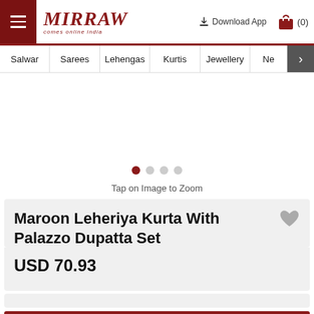Mirraw — comes online india | Download App | (0)
Salwar | Sarees | Lehengas | Kurtis | Jewellery | Ne >
[Figure (other): Product image area with carousel dots and zoom hint. Dots: 1 active (dark red), 3 inactive (grey). Caption: Tap on Image to Zoom]
Tap on Image to Zoom
Maroon Leheriya Kurta With Palazzo Dupatta Set
USD 70.93
BUY THIS NOW